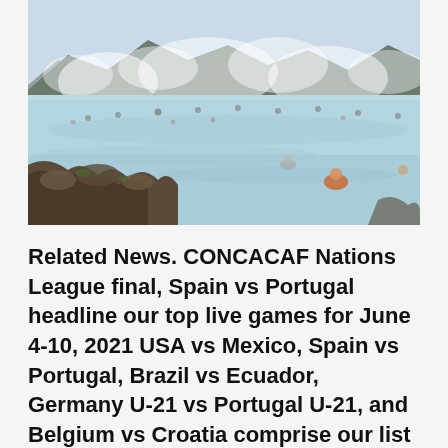[Figure (photo): Aerial view of a geothermal hot spring (Blue Lagoon style) with steam rising from milky blue water, rocky lava formations in the foreground and background, numerous people bathing in the water, misty mountains in the distance.]
Related News. CONCACAF Nations League final, Spain vs Portugal headline our top live games for June 4-10, 2021 USA vs Mexico, Spain vs Portugal, Brazil vs Ecuador, Germany U-21 vs Portugal U-21, and Belgium vs Croatia comprise our list of